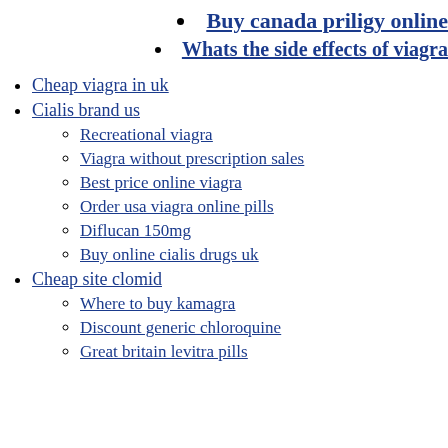Buy canada priligy online
Whats the side effects of viagra
Cheap viagra in uk
Cialis brand us
Recreational viagra
Viagra without prescription sales
Best price online viagra
Order usa viagra online pills
Diflucan 150mg
Buy online cialis drugs uk
Cheap site clomid
Where to buy kamagra
Discount generic chloroquine
Great britain levitra pills